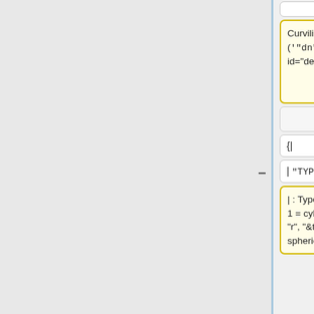Curvilinear mesh detector (<tt>'"dn"'</tt>): <span id="det_dn"> </span>
Curvilinear and unevenly-spaced mesh detector (<tt>'"dn"'</tt>): <span id="det_dn"> </span>
{|
{|
| <tt>"TYPE"</tt>
| <tt>"TYPE"</tt>
| : Type of curvilinear mesh - 1 = cylindrical (dimensions "r", "&theta;", "z"), 2 = spherical (dimensions "r",
| : Type of curvilinear mesh - 1 = cylindrical (dimensions "r", "&theta;", "z"), 2 = spherical (dimensions "r",